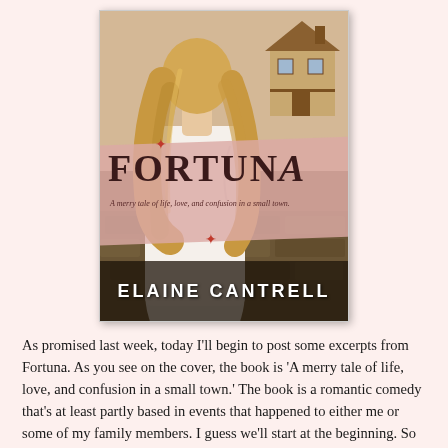[Figure (illustration): Book cover of 'Fortuna' by Elaine Cantrell. Shows a person with long blonde hair from behind wearing a white shirt, with a house in the upper right background. A pink diagonal banner across the middle displays the title 'FORTUNA' in large dark serif letters, with subtitle 'A merry tale of life, love, and confusion in a small town.' The author name 'ELAINE CANTRELL' appears in white bold letters on a dark band at the bottom.]
As promised last week, today I'll begin to post some excerpts from Fortuna. As you see on the cover, the book is 'A merry tale of life, love, and confusion in a small town.' The book is a romantic comedy that's at least partly based in events that happened to either me or some of my family members. I guess we'll start at the beginning. So here's a blurb and then an excerpt.